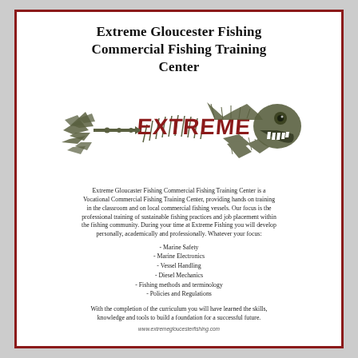Extreme Gloucester Fishing Commercial Fishing Training Center
[Figure (logo): Illustrated fish skeleton logo with the word EXTREME written in dark red across the body, fish head facing right with sharp teeth, tail fins on the left, dark olive/grey color scheme]
Extreme Gloucaster Fishing Commercial Fishing Training Center is a Vocational Commercial Fishing Training Center, providing hands on training in the classroom and on local commercial fishing vessels. Our focus is the professional training of sustainable fishing practices and job placement within the fishing community. During your time at Extreme Fishing you will develop personally, academically and professionally. Whatever your focus:
- Marine Safety
- Marine Electronics
- Vessel Handling
- Diesel Mechanics
- Fishing methods and terminology
- Policies and Regulations
With the completion of the curriculum you will have learned the skills, knowledge and tools to build a foundation for a successful future.
www.extremegloucesterfishing.com